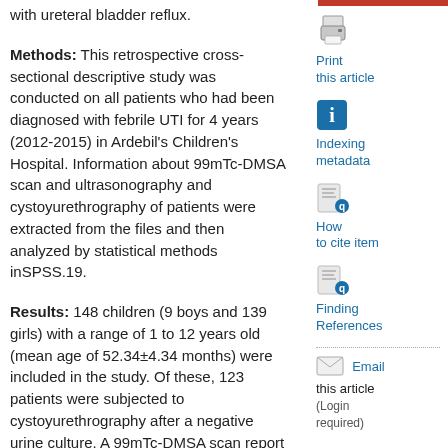with ureteral bladder reflux.
Methods: This retrospective cross-sectional descriptive study was conducted on all patients who had been diagnosed with febrile UTI for 4 years (2012-2015) in Ardebil's Children's Hospital. Information about 99mTc-DMSA scan and ultrasonography and cystoyurethrography of patients were extracted from the files and then analyzed by statistical methods inSPSS.19.
Results: 148 children (9 boys and 139 girls) with a range of 1 to 12 years old (mean age of 52.34±4.34 months) were included in the study. Of these, 123 patients were subjected to cystoyurethrography after a negative urine culture. A 99mTc-DMSA scan report in the acute phase of the disease was abnormal in 80.4% of the children. VCUG and RNC tests were performed in 123 patients, in 70 (57%) normal cases, and in 53 cases (43%) of urinary reflux. The incidence of reflux with abnormal 99mTc-DMSA scan was 42%. There was no significant correlation between the prevalence of reflux in
[Figure (illustration): Printer icon for Print this article]
Print this article
[Figure (illustration): Info icon for Indexing metadata]
Indexing metadata
[Figure (illustration): Search/document icon for How to cite item]
How to cite item
[Figure (illustration): Search/document icon for Finding References]
Finding References
[Figure (illustration): Email envelope icon]
Email this article (Login required)